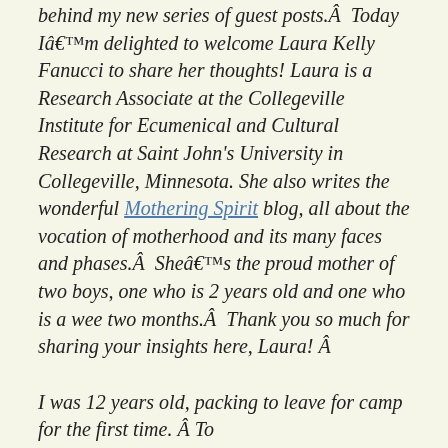behind my new series of guest posts.Â  Today Iâ€™m delighted to welcome Laura Kelly Fanucci to share her thoughts! Laura is a Research Associate at the Collegeville Institute for Ecumenical and Cultural Research at Saint John's University in Collegeville, Minnesota. She also writes the wonderful Mothering Spirit blog, all about the vocation of motherhood and its many faces and phases.Â  Sheâ€™s the proud mother of two boys, one who is 2 years old and one who is a wee two months.Â  Thank you so much for sharing your insights here, Laura! Â
I was 12 years old, packing to leave for camp for the first time. Â To...